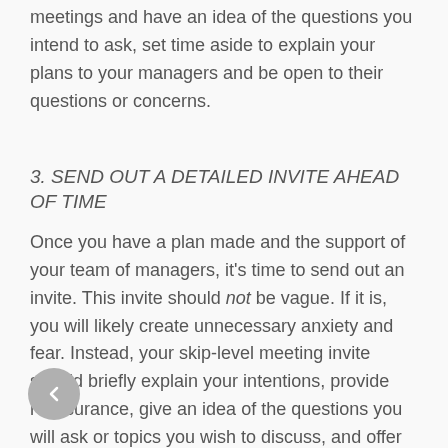meetings and have an idea of the questions you intend to ask, set time aside to explain your plans to your managers and be open to their questions or concerns.
3. SEND OUT A DETAILED INVITE AHEAD OF TIME
Once you have a plan made and the support of your team of managers, it's time to send out an invite. This invite should not be vague. If it is, you will likely create unnecessary anxiety and fear. Instead, your skip-level meeting invite should briefly explain your intentions, provide reassurance, give an idea of the questions you will ask or topics you wish to discuss, and offer to